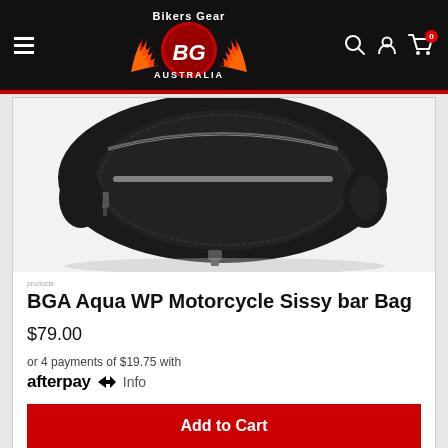[Figure (screenshot): Bikers Gear Australia website header with logo, hamburger menu, search, account, and cart icons on black background]
[Figure (photo): Black motorcycle sissy bar bag / roll bag with zipper details on white background]
BGA Aqua WP Motorcycle Sissy bar Bag
$79.00
or 4 payments of $19.75 with afterpay Info
Add to Cart